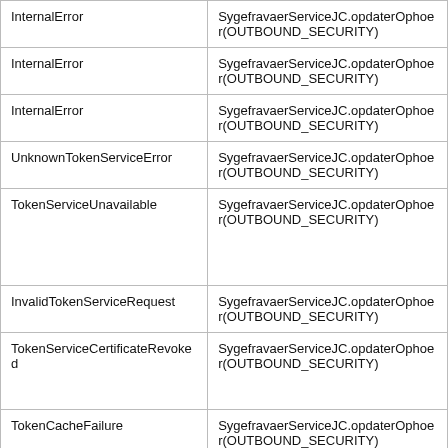| InternalError | SygefravaerServiceJC.opdaterOphoer(OUTBOUND_SECURITY) |
| InternalError | SygefravaerServiceJC.opdaterOphoer(OUTBOUND_SECURITY) |
| InternalError | SygefravaerServiceJC.opdaterOphoer(OUTBOUND_SECURITY) |
| UnknownTokenServiceError | SygefravaerServiceJC.opdaterOphoer(OUTBOUND_SECURITY) |
| TokenServiceUnavailable | SygefravaerServiceJC.opdaterOphoer(OUTBOUND_SECURITY) |
| InvalidTokenServiceRequest | SygefravaerServiceJC.opdaterOphoer(OUTBOUND_SECURITY) |
| TokenServiceCertificateRevoked | SygefravaerServiceJC.opdaterOphoer(OUTBOUND_SECURITY) |
| TokenCacheFailure | SygefravaerServiceJC.opdaterOphoer(OUTBOUND_SECURITY) |